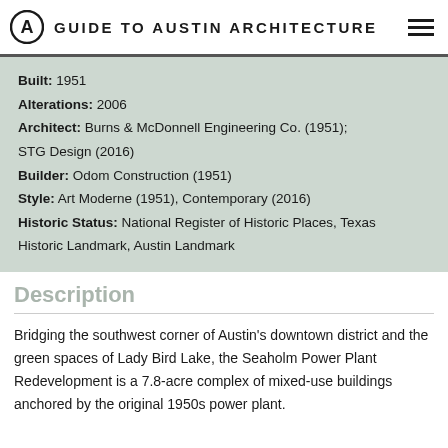Guide to Austin Architecture
Built: 1951
Alterations: 2006
Architect: Burns & McDonnell Engineering Co. (1951); STG Design (2016)
Builder: Odom Construction (1951)
Style: Art Moderne (1951), Contemporary (2016)
Historic Status: National Register of Historic Places, Texas Historic Landmark, Austin Landmark
Description
Bridging the southwest corner of Austin's downtown district and the green spaces of Lady Bird Lake, the Seaholm Power Plant Redevelopment is a 7.8-acre complex of mixed-use buildings anchored by the original 1950s power plant. Principles of sustainability and adaptation are provided the